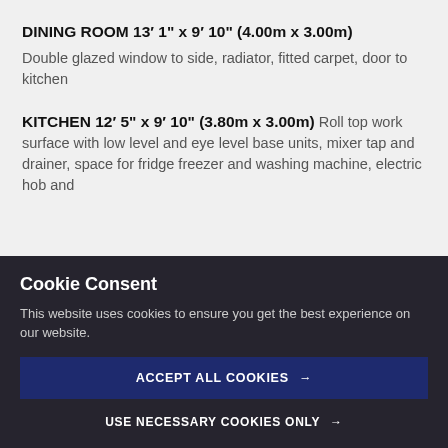DINING ROOM 13’ 1" x 9’ 10" (4.00m x 3.00m)
Double glazed window to side, radiator, fitted carpet, door to kitchen
KITCHEN 12’ 5" x 9’ 10" (3.80m x 3.00m)
Roll top work surface with low level and eye level base units, mixer tap and drainer, space for fridge freezer and washing machine, electric hob and
Cookie Consent
This website uses cookies to ensure you get the best experience on our website.
ACCEPT ALL COOKIES →
USE NECESSARY COOKIES ONLY →